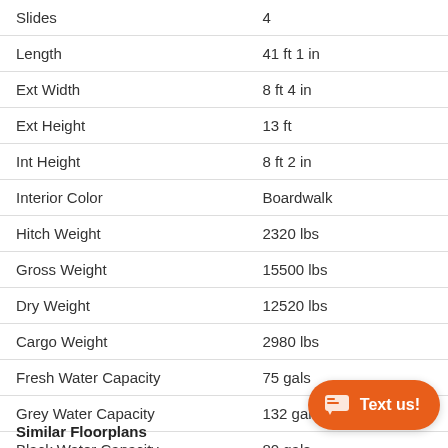| Specification | Value |
| --- | --- |
| Slides | 4 |
| Length | 41 ft 1 in |
| Ext Width | 8 ft 4 in |
| Ext Height | 13 ft |
| Int Height | 8 ft 2 in |
| Interior Color | Boardwalk |
| Hitch Weight | 2320 lbs |
| Gross Weight | 15500 lbs |
| Dry Weight | 12520 lbs |
| Cargo Weight | 2980 lbs |
| Fresh Water Capacity | 75 gals |
| Grey Water Capacity | 132 gals |
| Black Water Capacity | 80 gals |
| Tire Size | ST |
Similar Floorplans